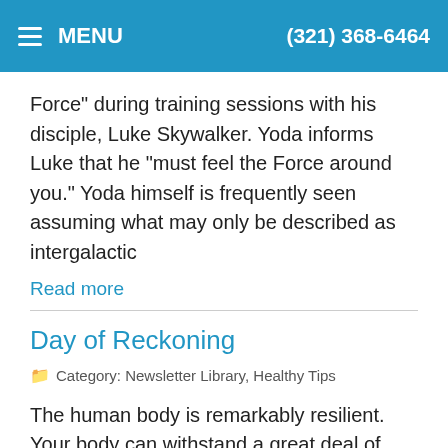MENU   (321) 368-6464
Force" during training sessions with his disciple, Luke Skywalker. Yoda informs Luke that he "must feel the Force around you." Yoda himself is frequently seen assuming what may only be described as intergalactic
Read more
Day of Reckoning
Category: Newsletter Library, Healthy Tips
The human body is remarkably resilient. Your body can withstand a great deal of abuse. It bounces back to fight off many infections, repair strains and